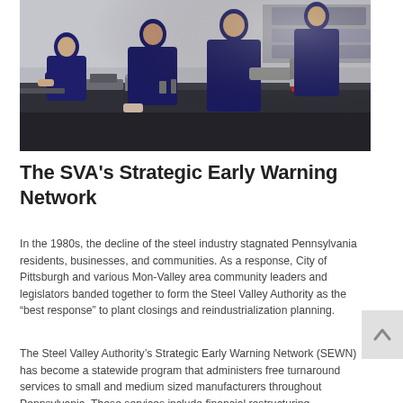[Figure (photo): Several workers in dark blue uniforms working at a metal workbench in an industrial or manufacturing setting, handling metal parts and tools.]
The SVA's Strategic Early Warning Network
In the 1980s, the decline of the steel industry stagnated Pennsylvania residents, businesses, and communities. As a response, City of Pittsburgh and various Mon-Valley area community leaders and legislators banded together to form the Steel Valley Authority as the “best response” to plant closings and reindustrialization planning.
The Steel Valley Authority’s Strategic Early Warning Network (SEWN) has become a statewide program that administers free turnaround services to small and medium sized manufacturers throughout Pennsylvania. These services include financial restructuring, streamlining operations, ownership transition, new market opportunities, and high